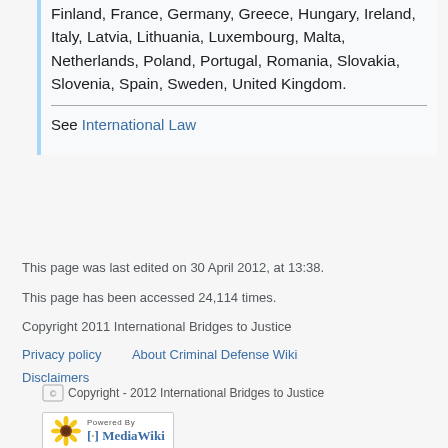Finland, France, Germany, Greece, Hungary, Ireland, Italy, Latvia, Lithuania, Luxembourg, Malta, Netherlands, Poland, Portugal, Romania, Slovakia, Slovenia, Spain, Sweden, United Kingdom.
See International Law
This page was last edited on 30 April 2012, at 13:38.
This page has been accessed 24,114 times.
Copyright 2011 International Bridges to Justice
Privacy policy   About Criminal Defense Wiki
Disclaimers
[Figure (logo): Copyright - 2012 International Bridges to Justice logo]
[Figure (logo): Powered by MediaWiki logo with sunflower icon]